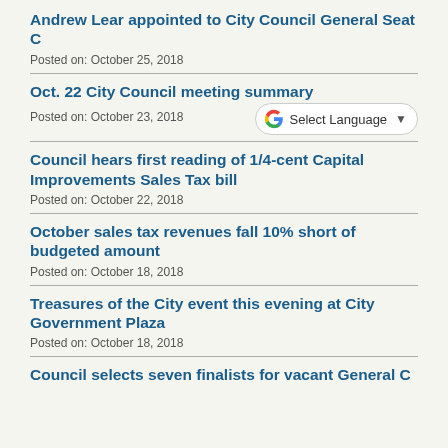Andrew Lear appointed to City Council General Seat C
Posted on: October 25, 2018
Oct. 22 City Council meeting summary
Posted on: October 23, 2018
Council hears first reading of 1/4-cent Capital Improvements Sales Tax bill
Posted on: October 22, 2018
October sales tax revenues fall 10% short of budgeted amount
Posted on: October 18, 2018
Treasures of the City event this evening at City Government Plaza
Posted on: October 18, 2018
Council selects seven finalists for vacant General C